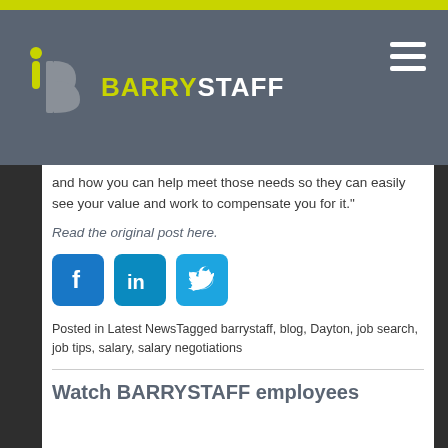BARRYSTAFF
and how you can help meet those needs so they can easily see your value and work to compensate you for it."
Read the original post here.
[Figure (other): Social media share icons: Facebook (blue), LinkedIn (teal), Twitter (light blue)]
Posted in Latest NewsTagged barrystaff, blog, Dayton, job search, job tips, salary, salary negotiations
Watch BARRYSTAFF employees